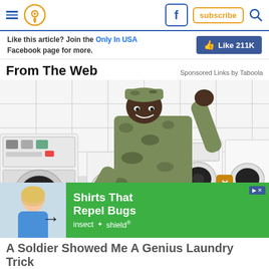Navigation header with hamburger menu, location pin icon, Facebook icon, subscribe button, search icon
Like this article? Join the Only In USA Facebook page for more.
Like 211K
From The Web
Sponsored Links by Taboola
[Figure (photo): A soldier in camouflage uniform leaning over a front-load washing machine in a laundromat, smiling at the camera. An advertisement overlay shows 'Shirts That Repel Bugs' by insect shield with a woman in blue top.]
A Soldier Showed Me A Genius Laundry Trick